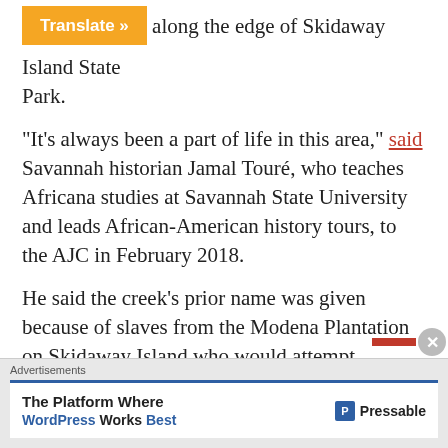along the edge of Skidaway Island State Park.
“It’s always been a part of life in this area,” said Savannah historian Jamal Touré, who teaches Africana studies at Savannah State University and leads African-American history tours, to the AJC in February 2018.
He said the creek’s prior name was given because of slaves from the Modena Plantation on Skidaway Island who would attempt escape by crossing the water into coastal islands along the Skidaway River that were occupied by the Union during the Civil War.
Advertisements
The Platform Where WordPress Works Best   Pressable